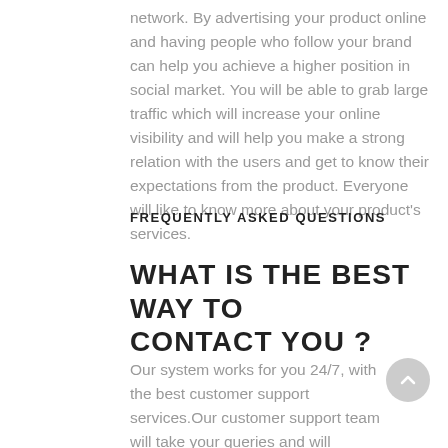network. By advertising your product online and having people who follow your brand can help you achieve a higher position in social market. You will be able to grab large traffic which will increase your online visibility and will help you make a strong relation with the users and get to know their expectations from the product. Everyone will like to know more about your product's services.
FREQUENTLY ASKED QUESTIONS
WHAT IS THE BEST WAY TO CONTACT YOU ?
Our system works for you 24/7, with the best customer support services.Our customer support team will take your queries and will provide you with the best possible solutions. For any queries